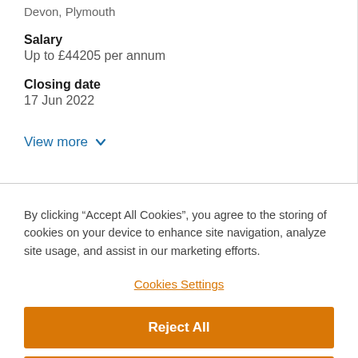Devon, Plymouth
Salary
Up to £44205 per annum
Closing date
17 Jun 2022
View more
By clicking “Accept All Cookies”, you agree to the storing of cookies on your device to enhance site navigation, analyze site usage, and assist in our marketing efforts.
Cookies Settings
Reject All